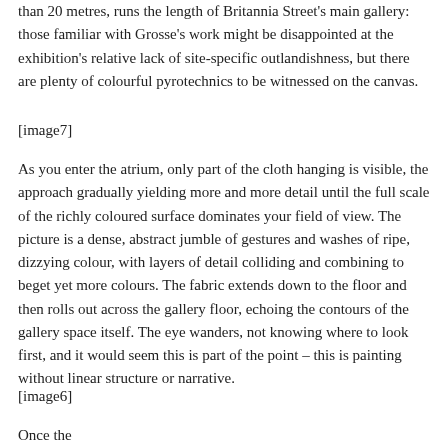than 20 metres, runs the length of Britannia Street's main gallery: those familiar with Grosse's work might be disappointed at the exhibition's relative lack of site-specific outlandishness, but there are plenty of colourful pyrotechnics to be witnessed on the canvas.
[image7]
As you enter the atrium, only part of the cloth hanging is visible, the approach gradually yielding more and more detail until the full scale of the richly coloured surface dominates your field of view. The picture is a dense, abstract jumble of gestures and washes of ripe, dizzying colour, with layers of detail colliding and combining to beget yet more colours. The fabric extends down to the floor and then rolls out across the gallery floor, echoing the contours of the gallery space itself. The eye wanders, not knowing where to look first, and it would seem this is part of the point – this is painting without linear structure or narrative.
[image6]
Once the picture has had a chance to reali...